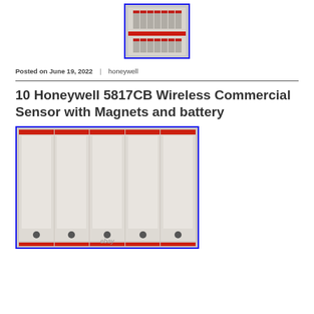[Figure (photo): Small thumbnail image of Honeywell 5817CB wireless sensor boxes, shown in a blue-bordered frame at top center]
Posted on June 19, 2022 | honeywell
10 Honeywell 5817CB Wireless Commercial Sensor with Magnets and battery
[Figure (photo): Photo of 10 Honeywell 5817CB wireless commercial sensor boxes arranged in two rows with red top labels on each box, blue border, eBay watermark at bottom]